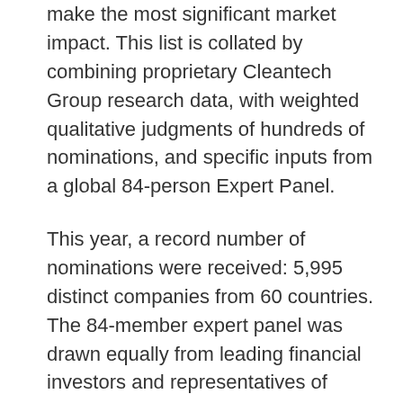make the most significant market impact. This list is collated by combining proprietary Cleantech Group research data, with weighted qualitative judgments of hundreds of nominations, and specific inputs from a global 84-person Expert Panel.
This year, a record number of nominations were received: 5,995 distinct companies from 60 countries. The 84-member expert panel was drawn equally from leading financial investors and representatives of multi-national corporations and industrials active in technology and innovation scouting across Asia, Europe, and North America. The composition of the expert panel broadly